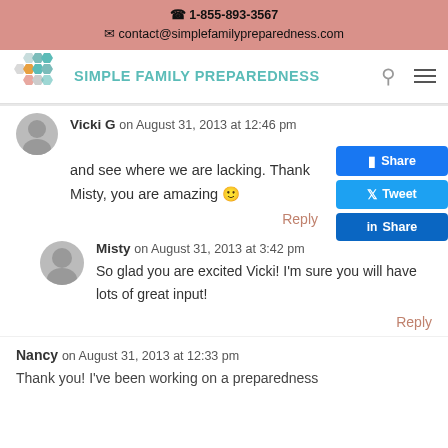📞 1-855-893-3567
✉ contact@simplefamilypreparedness.com
[Figure (logo): Simple Family Preparedness logo with hexagonal icon and teal text]
Vicki G on August 31, 2013 at 12:46 pm
and see where we are lacking. Thank Misty, you are amazing 🙂
Reply
Misty on August 31, 2013 at 3:42 pm
So glad you are excited Vicki! I'm sure you will have lots of great input!
Reply
Nancy on August 31, 2013 at 12:33 pm
Thank you! I've been working on a preparedness